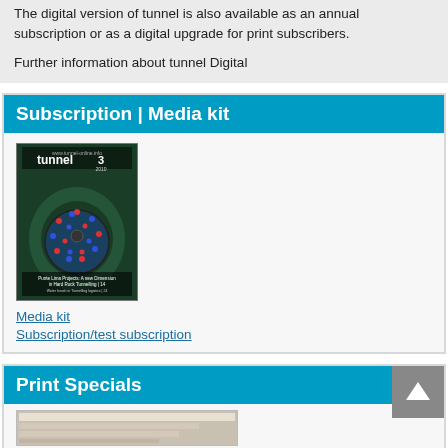The digital version of tunnel is also available as an annual subscription or as a digital upgrade for print subscribers.
Further information about tunnel Digital
Subscription | Media kit
[Figure (photo): Cover of tunnel magazine issue 3 2010 showing a tunnel boring machine cutterhead]
Media kit
Subscription/test subscription
Print Specials
[Figure (photo): Thumbnail image of a print special publication]